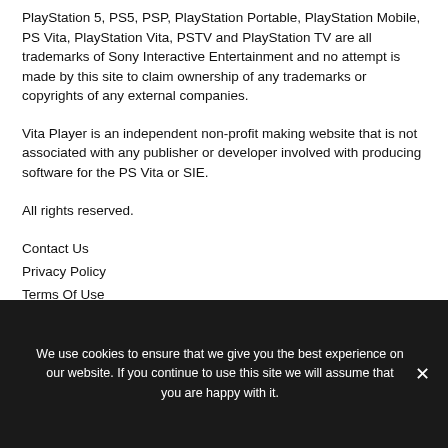PlayStation 5, PS5, PSP, PlayStation Portable, PlayStation Mobile, PS Vita, PlayStation Vita, PSTV and PlayStation TV are all trademarks of Sony Interactive Entertainment and no attempt is made by this site to claim ownership of any trademarks or copyrights of any external companies.
Vita Player is an independent non-profit making website that is not associated with any publisher or developer involved with producing software for the PS Vita or SIE.
All rights reserved.
Contact Us
Privacy Policy
Terms Of Use
We use cookies to ensure that we give you the best experience on our website. If you continue to use this site we will assume that you are happy with it.